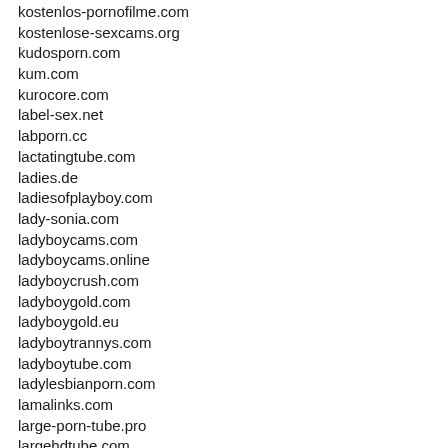kostenlos-pornofilme.com
kostenlose-sexcams.org
kudosporn.com
kum.com
kurocore.com
label-sex.net
labporn.cc
lactatingtube.com
ladies.de
ladiesofplayboy.com
lady-sonia.com
ladyboycams.com
ladyboycams.online
ladyboycrush.com
ladyboygold.com
ladyboygold.eu
ladyboytrannys.com
ladyboytube.com
ladylesbianporn.com
lamalinks.com
large-porn-tube.pro
largehdtube.com
latexsexgallery.com
latina21.com
latinababesfucking.com